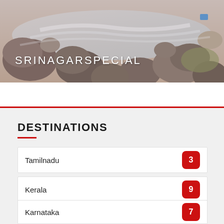[Figure (photo): Rocky river scene with boulders and flowing water, hero banner image for Srinagar Special]
SRINAGAR SPECIAL
DESTINATIONS
Tamilnadu 3
Kerala 9
Karnataka 7